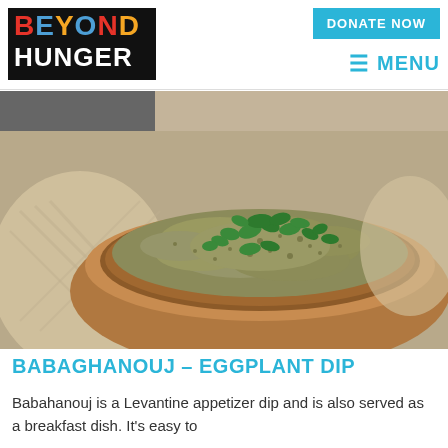[Figure (logo): Beyond Hunger logo with colorful BEYOND text on black background and white HUNGER text]
DONATE NOW
☰ MENU
[Figure (photo): A wooden bowl filled with babaghanouj eggplant dip garnished with fresh green herbs, served with flatbread in the background]
BABAGHANOUJ – EGGPLANT DIP
Babahanouj is a Levantine appetizer dip and is also served as a breakfast dish. It's easy to